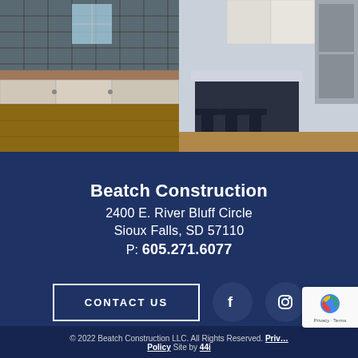[Figure (photo): Two side-by-side kitchen photos: left shows white cabinetry with dark tile backsplash and hardwood floor; right shows white kitchen island with bar stools and stainless steel appliances.]
Beatch Construction
2400 E. River Bluff Circle
Sioux Falls, SD 57110
P: 605.271.6077
CONTACT US
© 2022 Beatch Construction LLC. All Rights Reserved. Privacy Policy  Site by 44i